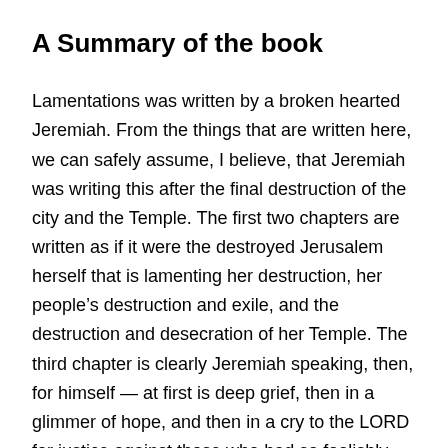A Summary of the book
Lamentations was written by a broken hearted Jeremiah. From the things that are written here, we can safely assume, I believe, that Jeremiah was writing this after the final destruction of the city and the Temple. The first two chapters are written as if it were the destroyed Jerusalem herself that is lamenting her destruction, her people’s destruction and exile, and the destruction and desecration of her Temple. The third chapter is clearly Jeremiah speaking, then, for himself — at first is deep grief, then in a glimmer of hope, and then in a cry to the LORD for justice against those who had so foolishly oppressed him for telling them the truth. Chapter four recounts the horrors of the siege — almost a post-traumatic-stress flashback to